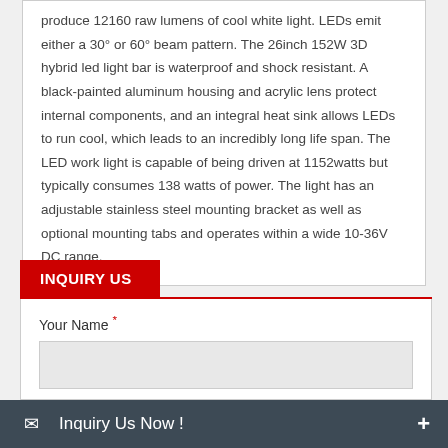produce 12160 raw lumens of cool white light. LEDs emit either a 30° or 60° beam pattern. The 26inch 152W 3D hybrid led light bar is waterproof and shock resistant. A black-painted aluminum housing and acrylic lens protect internal components, and an integral heat sink allows LEDs to run cool, which leads to an incredibly long life span. The LED work light is capable of being driven at 1152watts but typically consumes 138 watts of power. The light has an adjustable stainless steel mounting bracket as well as optional mounting tabs and operates within a wide 10-36V DC range.
INQUIRY US
Your Name *